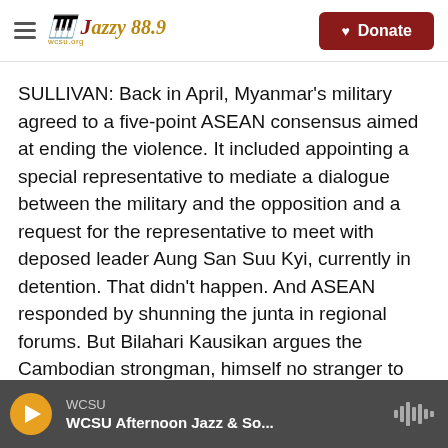Jazzy 88.9 WCSU — Donate
SULLIVAN: Back in April, Myanmar's military agreed to a five-point ASEAN consensus aimed at ending the violence. It included appointing a special representative to mediate a dialogue between the military and the opposition and a request for the representative to meet with deposed leader Aung San Suu Kyi, currently in detention. That didn't happen. And ASEAN responded by shunning the junta in regional forums. But Bilahari Kausikan argues the Cambodian strongman, himself no stranger to coups, could help break that deadlock.
WCSU — WCSU Afternoon Jazz & So...